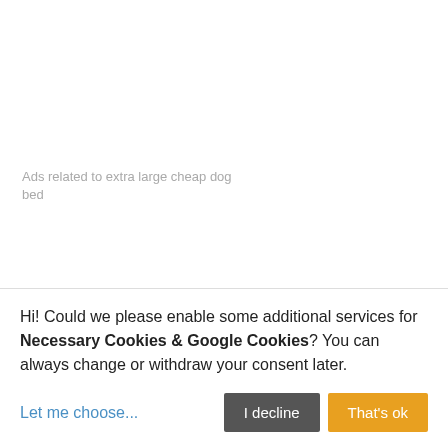Ads related to extra large cheap dog bed
Extra large dog bed, Strollers, Bichon Frise Dog Supplies in Pet Supplies on Bizrate.co.uk: Compare prices on Extra large dog bed, Strollers, Bichon Frise Dog Supplies from hundreds of stores and buy from Pet Supplies stores, rated and certified by consumers using the Bizrate.co.uk store rating scheme. Simply select the Dog Supplies store that has the price or discount you are looking for. If a Dog Supplies store is not rated yet it means that Bizrate.co.uk is still collecting shopper reviews at this time.
About Bizrate
Hi! Could we please enable some additional services for Necessary Cookies & Google Cookies? You can always change or withdraw your consent later.
Let me choose...
I decline
That's ok